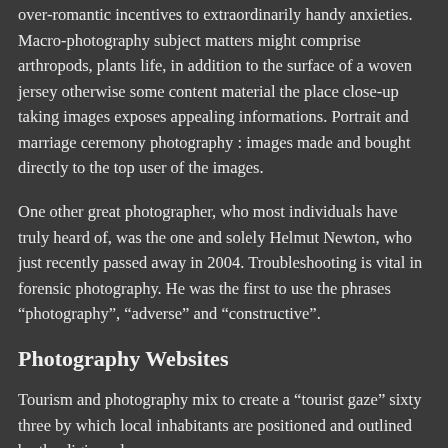over-romantic incentives to extraordinarily handy anxieties. Macro-photography subject matters might comprise arthropods, plants life, in addition to the surface of a woven jersey otherwise some content material the place close-up taking images exposes appealing informations. Portrait and marriage ceremony photography : images made and bought directly to the top user of the images.
One other great photographer, who most individuals have truly heard of, was the one and solely Helmut Newton, who just recently passed away in 2004. Troubleshooting is vital in forensic photography. He was the first to use the phrases “photography”, “adverse” and “constructive”.
Photography Websites
Tourism and photography mix to create a “tourist gaze” sixty three by which local inhabitants are positioned and outlined by the digicam lens.
Skill...